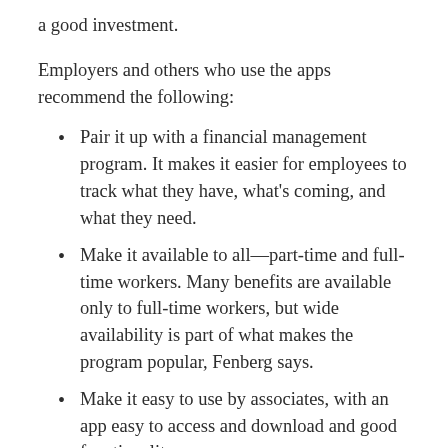a good investment.
Employers and others who use the apps recommend the following:
Pair it up with a financial management program. It makes it easier for employees to track what they have, what's coming, and what they need.
Make it available to all—part-time and full-time workers. Many benefits are available only to full-time workers, but wide availability is part of what makes the program popular, Fenberg says.
Make it easy to use by associates, with an app easy to access and download and good functionality.
Get an easy-to-use system that becomes